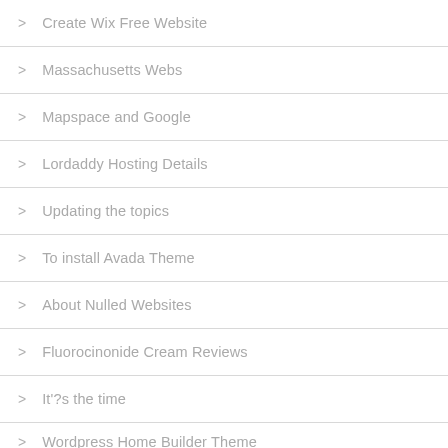Create Wix Free Website
Massachusetts Webs
Mapspace and Google
Lordaddy Hosting Details
Updating the topics
To install Avada Theme
About Nulled Websites
Fluorocinonide Cream Reviews
It'?s the time
Wordpress Home Builder Theme
How to find website templates
Beta Tutorial
Choosing a Wordpress theme
Installing a downloaded theme in Wordpress
Affiliate Graphic Driver